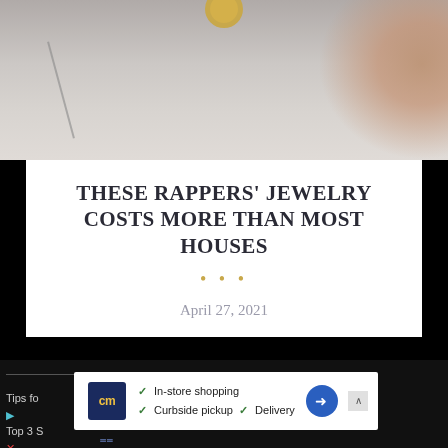[Figure (photo): Close-up photo of a gold ring/jewelry piece against a grey/beige blurred background with diagonal line]
THESE RAPPERS' JEWELRY COSTS MORE THAN MOST HOUSES
April 27, 2021
[Figure (screenshot): Advertisement card showing cm logo with In-store shopping, Curbside pickup, Delivery options and a navigation arrow icon]
Tips fo...
Top 3 S...